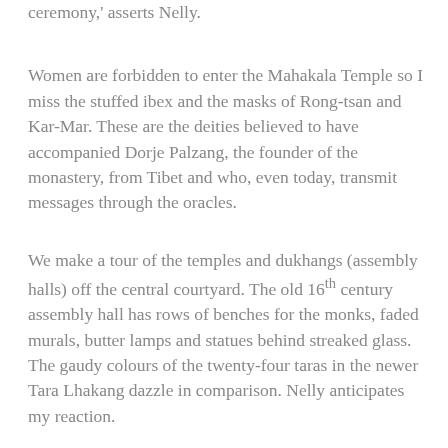ceremony,' asserts Nelly.
Women are forbidden to enter the Mahakala Temple so I miss the stuffed ibex and the masks of Rong-tsan and Kar-Mar. These are the deities believed to have accompanied Dorje Palzang, the founder of the monastery, from Tibet and who, even today, transmit messages through the oracles.
We make a tour of the temples and dukhangs (assembly halls) off the central courtyard. The old 16th century assembly hall has rows of benches for the monks, faded murals, butter lamps and statues behind streaked glass. The gaudy colours of the twenty-four taras in the newer Tara Lhakang dazzle in comparison. Nelly anticipates my reaction.